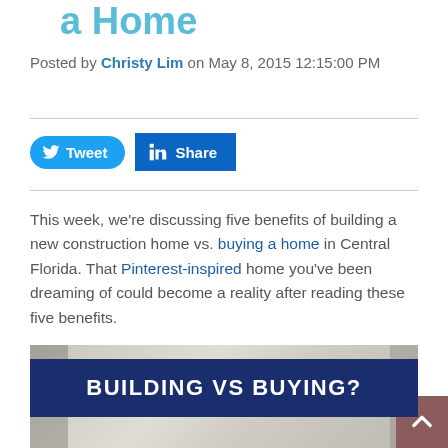a Home
Posted by Christy Lim on May 8, 2015 12:15:00 PM
[Figure (other): Social sharing buttons: Tweet (Twitter) and Share (LinkedIn)]
This week, we're discussing five benefits of building a new construction home vs. buying a home in Central Florida. That Pinterest-inspired home you've been dreaming of could become a reality after reading these five benefits.
[Figure (infographic): Infographic banner with text 'BUILDING VS BUYING?' on dark navy background, with a photo of a home interior below]